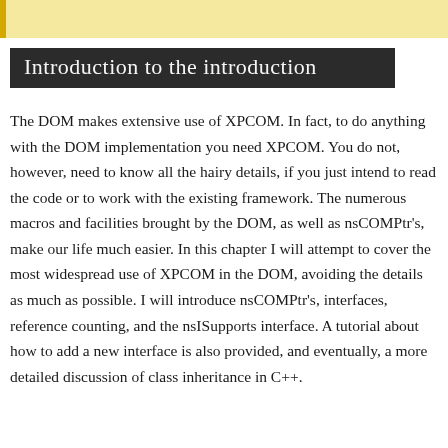Introduction to the introduction
The DOM makes extensive use of XPCOM. In fact, to do anything with the DOM implementation you need XPCOM. You do not, however, need to know all the hairy details, if you just intend to read the code or to work with the existing framework. The numerous macros and facilities brought by the DOM, as well as nsCOMPtr's, make our life much easier. In this chapter I will attempt to cover the most widespread use of XPCOM in the DOM, avoiding the details as much as possible. I will introduce nsCOMPtr's, interfaces, reference counting, and the nsISupports interface. A tutorial about how to add a new interface is also provided, and eventually, a more detailed discussion of class inheritance in C++.